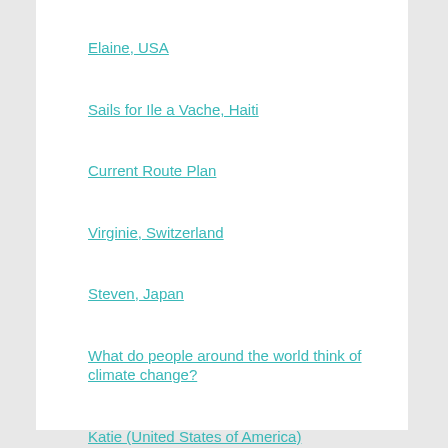Elaine, USA
Sails for Ile a Vache, Haiti
Current Route Plan
Virginie, Switzerland
Steven, Japan
What do people around the world think of climate change?
Katie (United States of America)
Birgit (Switzerland)